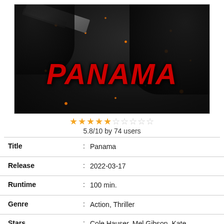[Figure (photo): Movie poster for Panama (2022) showing dark background with figures, a gun, sparks/embers, and large red italic bold text 'PANAMA']
★★★★☆☆☆☆☆☆ 5.8/10 by 74 users
| Title | : | Panama |
| Release | : | 2022-03-17 |
| Runtime | : | 100 min. |
| Genre | : | Action, Thriller |
| Stars | : | Cole Hauser, Mel Gibson, Kate Katzman, Charlie Weber, Jackie |